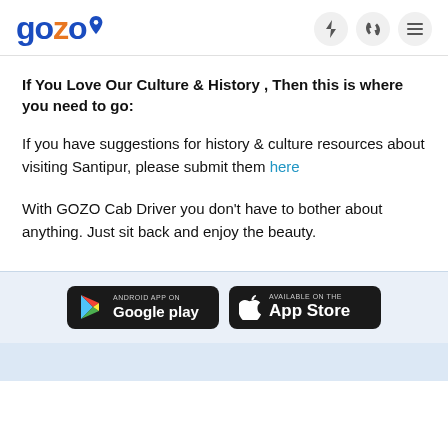gozo [logo with location pin icon] [lightning icon] [phone icon] [menu icon]
If You Love Our Culture & History , Then this is where you need to go:
If you have suggestions for history & culture resources about visiting Santipur, please submit them here
With GOZO Cab Driver you don't have to bother about anything. Just sit back and enjoy the beauty.
[Figure (logo): Google Play and Apple App Store download buttons]